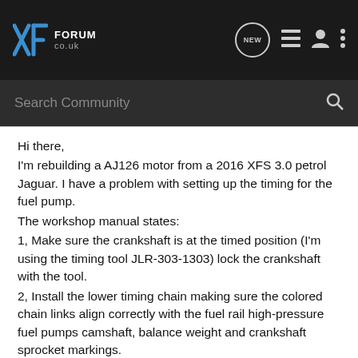XF FORUM co.uk
Search Community
Hi there,
I'm rebuilding a AJ126 motor from a 2016 XFS 3.0 petrol Jaguar. I have a problem with setting up the timing for the fuel pump.
The workshop manual states:
1, Make sure the crankshaft is at the timed position (I'm using the timing tool JLR-303-1303) lock the crankshaft with the tool.
2, Install the lower timing chain making sure the colored chain links align correctly with the fuel rail high-pressure fuel pumps camshaft, balance weight and crankshaft sprocket markings.
3, Remove the special tool.(JLR-303-1303)
4, Carefully adjust the crankshaft position to allow correct installation of the special tool. (JLR-303-1621)
5, If the crankshaft timing tool cannot be installed, adjustment of the fuel pump camshaft timing will be required.